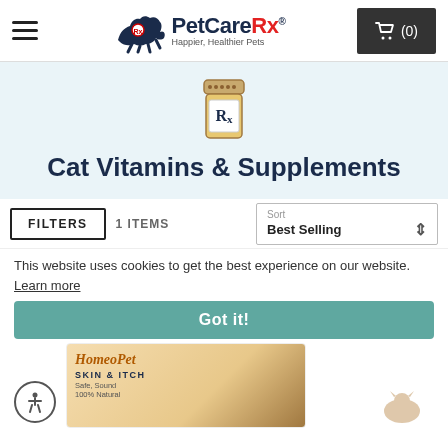PetCareRx — Happier, Healthier Pets — Cart (0)
[Figure (logo): PetCareRx logo with running dog silhouette and Rx pill bottle icon, tagline: Happier, Healthier Pets]
[Figure (illustration): Illustrated Rx pill bottle with orange/gold coloring and Rx label]
Cat Vitamins & Supplements
FILTERS    1 ITEMS    Sort    Best Selling
This website uses cookies to get the best experience on our website. Learn more
Got it!
[Figure (photo): HomeoPet Skin & Itch product image showing a cat]
HomeoPet SKIN & ITCH